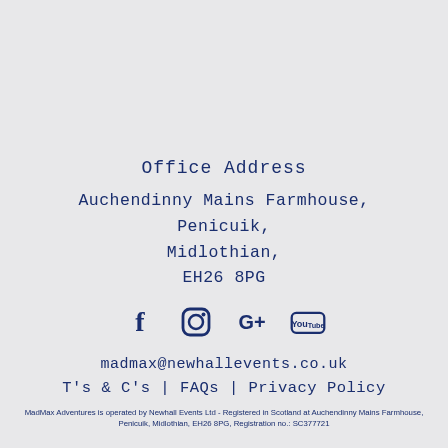Office Address
Auchendinny Mains Farmhouse,
Penicuik,
Midlothian,
EH26 8PG
[Figure (illustration): Social media icons: Facebook, Instagram, Google+, YouTube]
madmax@newhallevents.co.uk
T's & C's | FAQs | Privacy Policy
MadMax Adventures is operated by Newhall Events Ltd - Registered in Scotland at Auchendinny Mains Farmhouse, Penicuik, Midlothian, EH26 8PG, Registration no.: SC377721